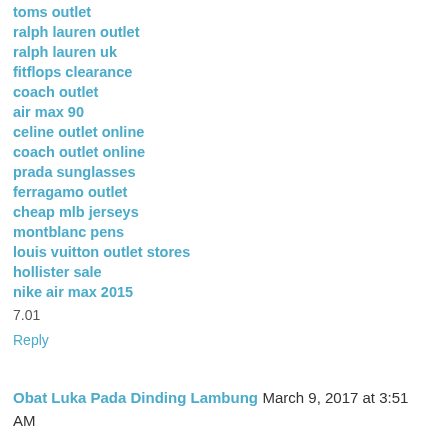toms outlet
ralph lauren outlet
ralph lauren uk
fitflops clearance
coach outlet
air max 90
celine outlet online
coach outlet online
prada sunglasses
ferragamo outlet
cheap mlb jerseys
montblanc pens
louis vuitton outlet stores
hollister sale
nike air max 2015
7.01
Reply
Obat Luka Pada Dinding Lambung March 9, 2017 at 3:51 AM